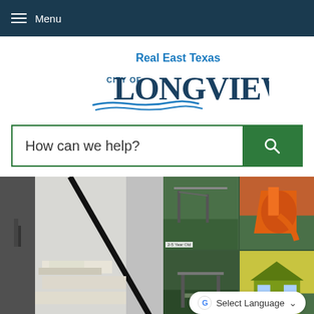Menu
[Figure (logo): City of Longview, Real East Texas logo with water wave graphic]
How can we help?
[Figure (photo): Collage of city photos including staircase/interior and playground equipment for various age groups, with a Google Translate 'Select Language' dropdown overlay]